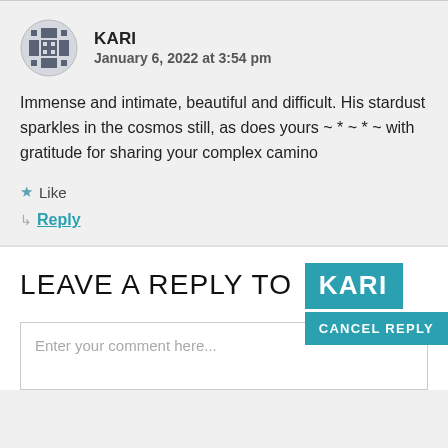[Figure (illustration): Pixel art avatar icon for user Kari, gray/blue grid-pattern design]
KARI
January 6, 2022 at 3:54 pm
Immense and intimate, beautiful and difficult. His stardust sparkles in the cosmos still, as does yours ~ * ~ * ~ with gratitude for sharing your complex camino
★ Like
↳ Reply
LEAVE A REPLY TO KARI
CANCEL REPLY
Enter your comment here...